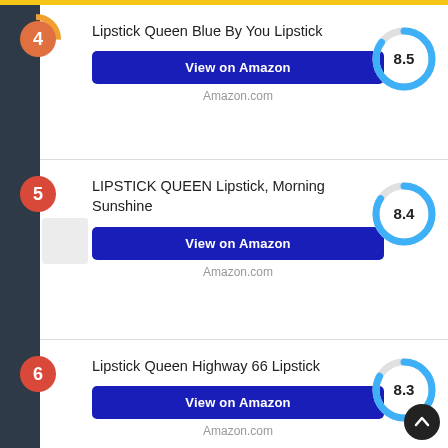4 Lipstick Queen Blue By You Lipstick 8.5
5 LIPSTICK QUEEN Lipstick, Morning Sunshine 8.4
6 Lipstick Queen Highway 66 Lipstick 8.3